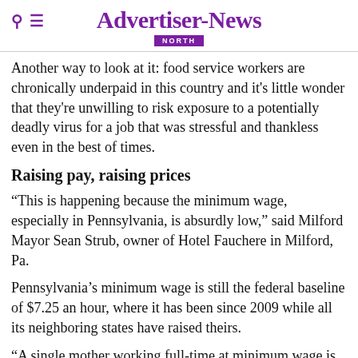Advertiser-News NORTH
Another way to look at it: food service workers are chronically underpaid in this country and it's little wonder that they're unwilling to risk exposure to a potentially deadly virus for a job that was stressful and thankless even in the best of times.
Raising pay, raising prices
“This is happening because the minimum wage, especially in Pennsylvania, is absurdly low,” said Milford Mayor Sean Strub, owner of Hotel Fauchere in Milford, Pa.
Pennsylvania’s minimum wage is still the federal baseline of $7.25 an hour, where it has been since 2009 while all its neighboring states have raised theirs.
“A single mother working full-time at minimum wage is